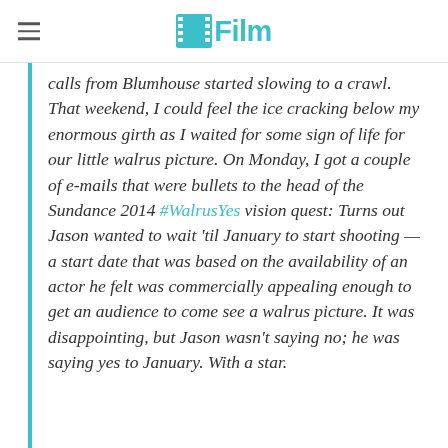/Film
calls from Blumhouse started slowing to a crawl. That weekend, I could feel the ice cracking below my enormous girth as I waited for some sign of life for our little walrus picture. On Monday, I got a couple of e-mails that were bullets to the head of the Sundance 2014 #WalrusYes vision quest: Turns out Jason wanted to wait 'til January to start shooting — a start date that was based on the availability of an actor he felt was commercially appealing enough to get an audience to come see a walrus picture. It was disappointing, but Jason wasn't saying no; he was saying yes to January. With a star.